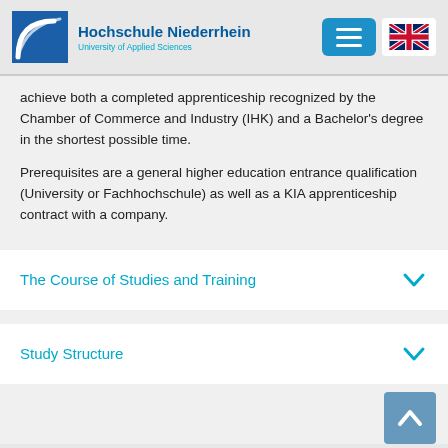[Figure (logo): Hochschule Niederrhein University of Applied Sciences logo with blue angular graphic and text]
achieve both a completed apprenticeship recognized by the Chamber of Commerce and Industry (IHK) and a Bachelor's degree in the shortest possible time.
Prerequisites are a general higher education entrance qualification (University or Fachhochschule) as well as a KIA apprenticeship contract with a company.
The Course of Studies and Training
Study Structure